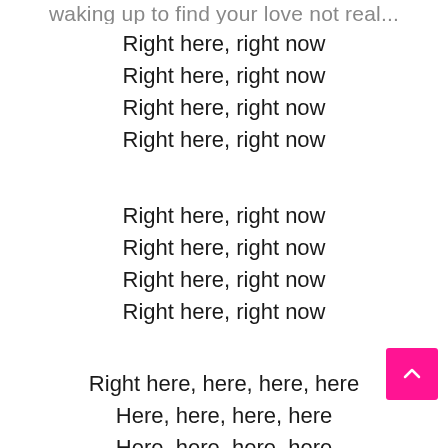...waking up to find your love not real...
Right here, right now
Right here, right now
Right here, right now
Right here, right now
Right here, right now
Right here, right now
Right here, right now
Right here, right now
Right here, here, here, here
Here, here, here, here
Here, here, here, here
Here, here, here, here